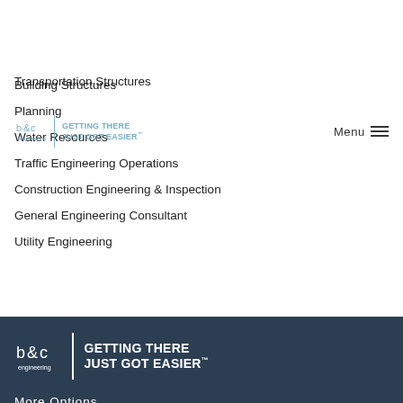[Figure (logo): B&C Engineering logo with tagline GETTING THERE JUST GOT EASIER in header]
Menu
Transportation Structures (partial, cut off at top)
Building Structures
Planning
Water Resources
Traffic Engineering Operations
Construction Engineering & Inspection
General Engineering Consultant
Utility Engineering
[Figure (logo): B&C Engineering logo with tagline GETTING THERE JUST GOT EASIER in footer on dark background]
More Options.
Fewer Surprises.